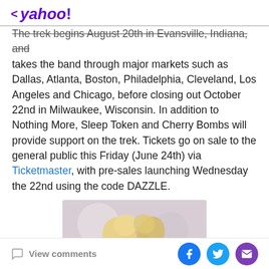< yahoo!
The trek begins August 20th in Evansville, Indiana, and takes the band through major markets such as Dallas, Atlanta, Boston, Philadelphia, Cleveland, Los Angeles and Chicago, before closing out October 22nd in Milwaukee, Wisconsin. In addition to Nothing More, Sleep Token and Cherry Bombs will provide support on the trek. Tickets go on sale to the general public this Friday (June 24th) via Ticketmaster, with pre-sales launching Wednesday the 22nd using the code DAZZLE.
[Figure (photo): A performer with long blonde hair singing on stage, wearing white clothing, with a soft bokeh background.]
View comments | Share on Facebook | Share on Twitter | Share via Email